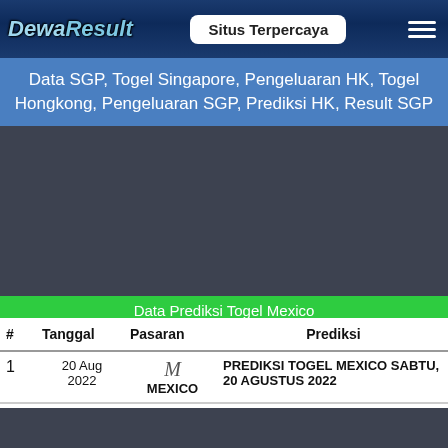DewaResult — Situs Terpercaya
Data SGP, Togel Singapore, Pengeluaran HK, Togel Hongkong, Pengeluaran SGP, Prediksi HK, Result SGP
Data Prediksi Togel Mexico
| # | Tanggal | Pasaran | Prediksi |
| --- | --- | --- | --- |
| 1 | 20 Aug 2022 | MEXICO | PREDIKSI TOGEL MEXICO SABTU, 20 AGUSTUS 2022 |
| 10 A |  |  | PREDIKSI TOGEL MEXICO JUMAT, 19... |